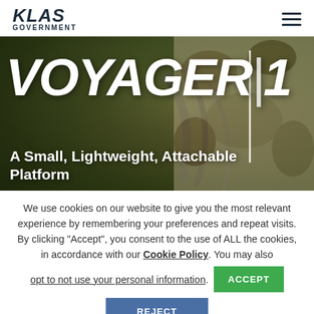KLAS GOVERNMENT
[Figure (photo): Hero image with dark olive military-themed background showing cables/equipment. Large bold white italic text reads VOYAGER|1. Below it text reads 'A Small, Lightweight, Attachable Platform']
VOYAGER|1
A Small, Lightweight, Attachable Platform
We use cookies on our website to give you the most relevant experience by remembering your preferences and repeat visits. By clicking “Accept”, you consent to the use of ALL the cookies, in accordance with our Cookie Policy. You may also opt to not use your personal information.
ACCEPT
REJECT